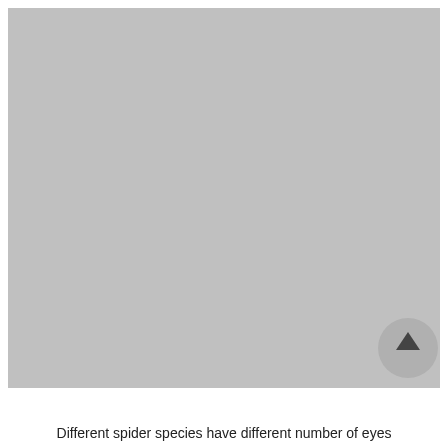[Figure (photo): Large gray placeholder image representing a photo of different spider species eyes]
Different spider species have different number of eyes